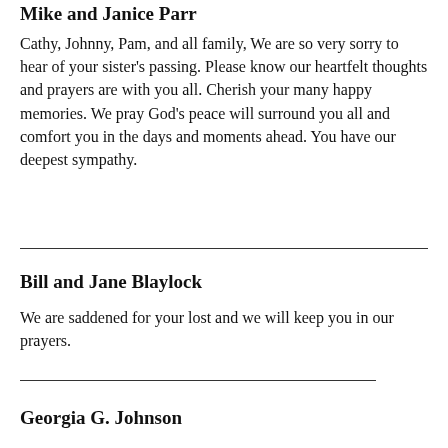Mike and Janice Parr
Cathy, Johnny, Pam, and all family, We are so very sorry to hear of your sister's passing. Please know our heartfelt thoughts and prayers are with you all. Cherish your many happy memories. We pray God's peace will surround you all and comfort you in the days and moments ahead. You have our deepest sympathy.
Bill and Jane Blaylock
We are saddened for your lost and we will keep you in our prayers.
Georgia G. Johnson